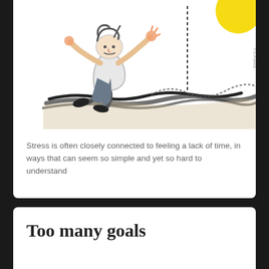[Figure (illustration): Cartoon illustration of a person running/jumping frantically over wavy lines suggesting water or obstacles, with a yellow circular shape in the upper right corner. Style is loose, sketchy, colorful. Watermark text 'Fritz Ahlefeldt' on the right side.]
Stress is often closely connected to feeling a lack of time, in ways that can seem so simple and yet so hard to understand
Too many goals